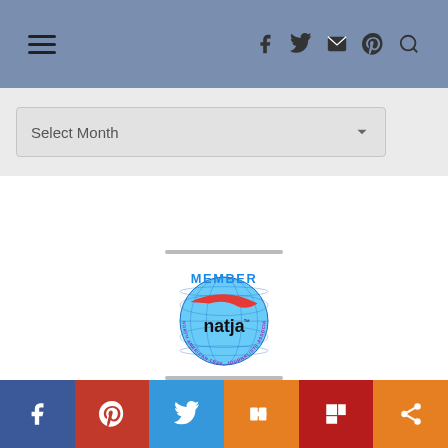Navigation bar with hamburger menu and social icons (Facebook, Twitter, Instagram, Pinterest, Search)
Select Month
[Figure (logo): NATJA Member logo — North American Travel Journalists Association globe badge with red swoosh and 'natja' text, 'MEMBER' in blue above]
Social share bar: Facebook, Pinterest, Twitter, Mix, Flipboard, Share